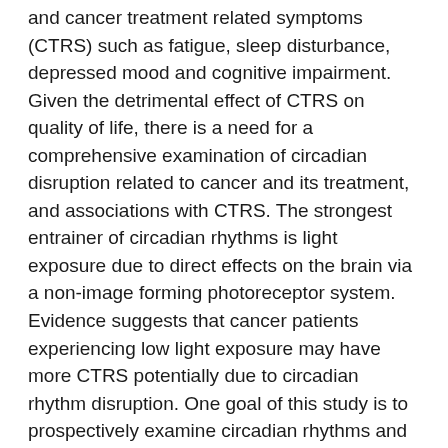and cancer treatment related symptoms (CTRS) such as fatigue, sleep disturbance, depressed mood and cognitive impairment. Given the detrimental effect of CTRS on quality of life, there is a need for a comprehensive examination of circadian disruption related to cancer and its treatment, and associations with CTRS. The strongest entrainer of circadian rhythms is light exposure due to direct effects on the brain via a non-image forming photoreceptor system. Evidence suggests that cancer patients experiencing low light exposure may have more CTRS potentially due to circadian rhythm disruption. One goal of this study is to prospectively examine circadian rhythms and CTRS in 63 breast cancer (BC) patients from post-surgery to 12 months post-chemotherapy. A matched healthy control group (n=63) will serve as a comparison. Another goal is to evaluate light exposure as a potential protective factor against circadian rhythm disruption.
Short bio